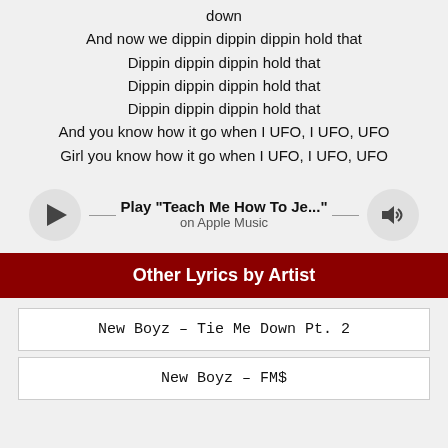down
And now we dippin dippin dippin hold that
Dippin dippin dippin hold that
Dippin dippin dippin hold that
Dippin dippin dippin hold that
And you know how it go when I UFO, I UFO, UFO
Girl you know how it go when I UFO, I UFO, UFO
[Figure (other): Apple Music player widget with play button, track title 'Play "Teach Me How To Je..."', subtitle 'on Apple Music', and volume icon]
Other Lyrics by Artist
New Boyz – Tie Me Down Pt. 2
New Boyz – FM$